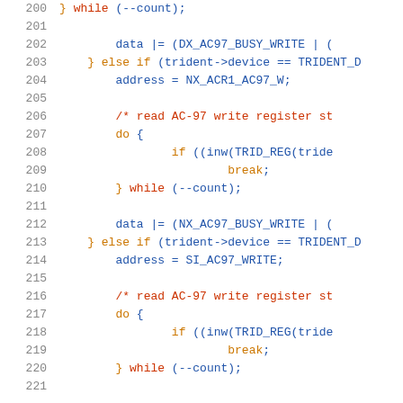[Figure (screenshot): Source code listing lines 200-221, C programming language, showing AC-97 audio register write code with line numbers, syntax highlighting in blue, orange, and red.]